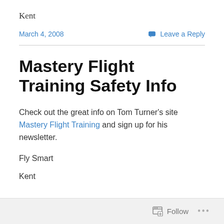Kent
March 4, 2008
Leave a Reply
Mastery Flight Training Safety Info
Check out the great info on Tom Turner's site Mastery Flight Training and sign up for his newsletter.
Fly Smart
Kent
Follow ...